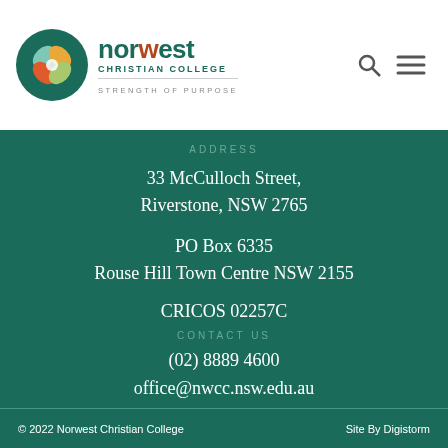[Figure (logo): Norwest Christian College logo with circular floral emblem and text 'norwest CHRISTIAN COLLEGE STRENGTH OF PURPOSE']
ADDRESS
33 McCulloch Street,
Riverstone, NSW 2765
PO Box 6335
Rouse Hill Town Centre NSW 2155
CRICOS 02257C
CONTACT US
(02) 8889 4600
office@nwcc.nsw.edu.au
GET SOCIAL
© 2022 Norwest Christian College    Site By Digistorm